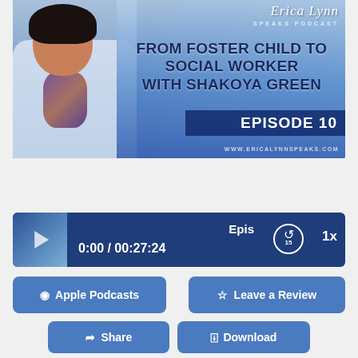[Figure (screenshot): Erica Lynn Speaks Podcast banner image for Episode 10: From Foster Child to Social Worker with Shakoya Green. Features a woman in a white blazer on a blue gradient background, with podcast logo and website www.ericalynnspeaks.com]
[Figure (screenshot): Podcast audio player bar showing time 0:00 / 00:27:24, episode label, rewind 15 seconds button, and 1x playback speed]
[Figure (screenshot): Apple Podcasts button and Leave a Review button]
[Figure (screenshot): Share button and Download button]